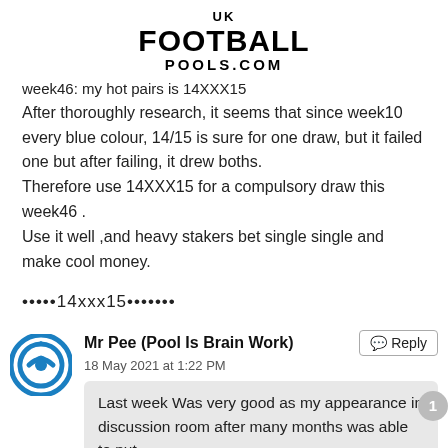[Figure (logo): UK Football Pools.com logo in bold black text]
week46: my hot pairs is 14XXX15
After thoroughly research, it seems that since week10 every blue colour, 14/15 is sure for one draw, but it failed one but after failing, it drew boths.
Therefore use 14XXX15 for a compulsory draw this week46 .
Use it well ,and heavy stakers bet single single and make cool money.
•••••14xxx15•••••••
Mr Pee (Pool Is Brain Work)
18 May 2021 at 1:22 PM
Last week Was very good as my appearance in discussion room after many months was able to put